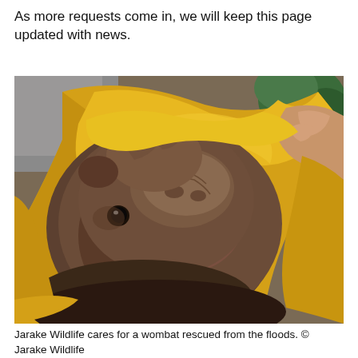As more requests come in, we will keep this page updated with news.
[Figure (photo): Close-up photo of a wombat wrapped in a yellow towel, being held by a person's hand. The wombat has a broad brown fuzzy face with a large flat nose and small dark eyes. The background shows a grey couch and some green foliage.]
Jarake Wildlife cares for a wombat rescued from the floods. © Jarake Wildlife